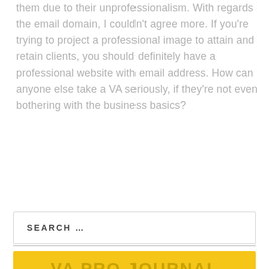them due to their unprofessionalism. With regards the email domain, I couldn't agree more. If you're trying to project a professional image to attain and retain clients, you should definitely have a professional website with email address. How can anyone else take a VA seriously, if they're not even bothering with the business basics?
SEARCH …
VA PRO JOURNAL